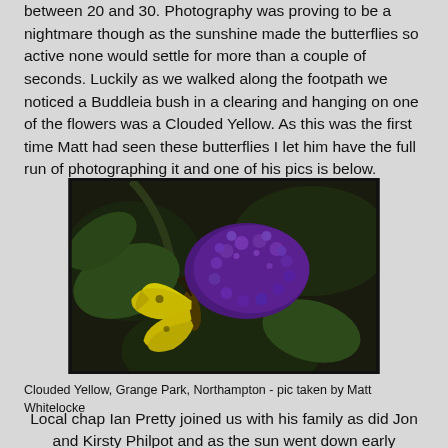between 20 and 30. Photography was proving to be a nightmare though as the sunshine made the butterflies so active none would settle for more than a couple of seconds. Luckily as we walked along the footpath we noticed a Buddleia bush in a clearing and hanging on one of the flowers was a Clouded Yellow. As this was the first time Matt had seen these butterflies I let him have the full run of photographing it and one of his pics is below.
[Figure (photo): A yellow Clouded Yellow butterfly perched on a purple Buddleia flower cluster, against a dark background with green leaves visible.]
Clouded Yellow, Grange Park, Northampton - pic taken by Matt Whitelocke
Local chap Ian Pretty joined us with his family as did Jon and Kirsty Philpot and as the sun went down early evening